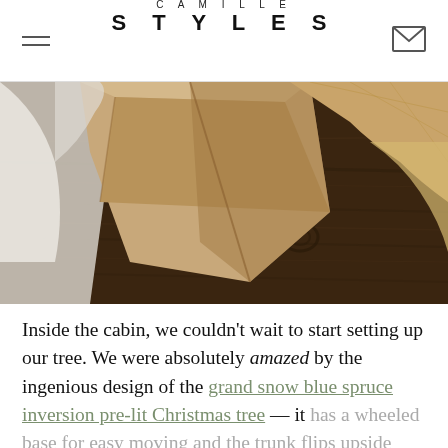CAMILLE STYLES
[Figure (photo): Close-up photo of kraft paper wrapped gifts and burlap fabric on a dark wooden surface]
Inside the cabin, we couldn't wait to start setting up our tree. We were absolutely amazed by the ingenious design of the grand snow blue spruce inversion pre-lit Christmas tree — it has a wheeled base for easy moving and the trunk flips upside down with a simple push for